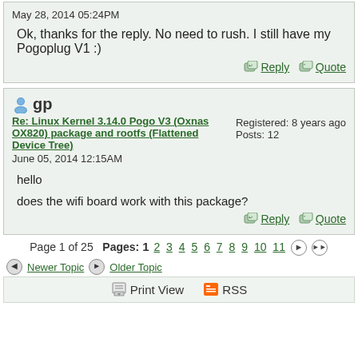May 28, 2014 05:24PM
Ok, thanks for the reply. No need to rush. I still have my Pogoplug V1 :)
Reply   Quote
gp
Re: Linux Kernel 3.14.0 Pogo V3 (Oxnas OX820) package and rootfs (Flattened Device Tree)
June 05, 2014 12:15AM
Registered: 8 years ago
Posts: 12
hello
does the wifi board work with this package?
Reply   Quote
Page 1 of 25   Pages: 1 2 3 4 5 6 7 8 9 10 11
Newer Topic   Older Topic
Print View   RSS